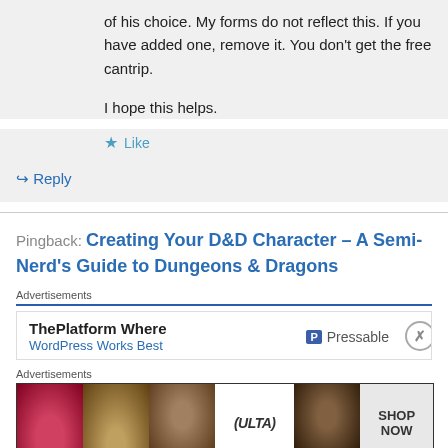of his choice. My forms do not reflect this. If you have added one, remove it. You don’t get the free cantrip.

I hope this helps.
★ Like
↳ Reply
Pingback: Creating Your D&D Character – A Semi-Nerd’s Guide to Dungeons & Dragons
[Figure (screenshot): Advertisement banner for ThePlatform Where WordPress Works Best, with Pressable branding and a close button]
[Figure (screenshot): Advertisement banner for ULTA Beauty with cosmetics photos and SHOP NOW call to action]